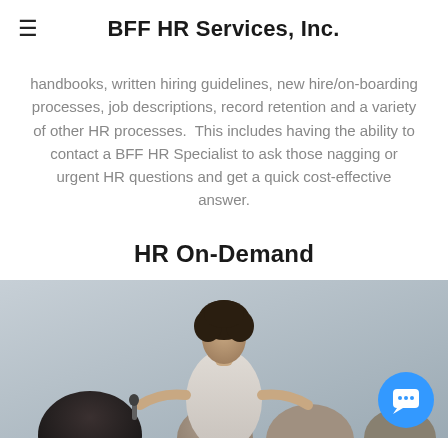BFF HR Services, Inc.
handbooks, written hiring guidelines, new hire/on-boarding processes, job descriptions, record retention and a variety of other HR processes.  This includes having the ability to contact a BFF HR Specialist to ask those nagging or urgent HR questions and get a quick cost-effective answer.
HR On-Demand
[Figure (photo): A woman with curly hair smiling and presenting/speaking to a group of people seated in front of her, in front of a concrete wall background. A blue chat button icon is visible in the bottom-right corner.]